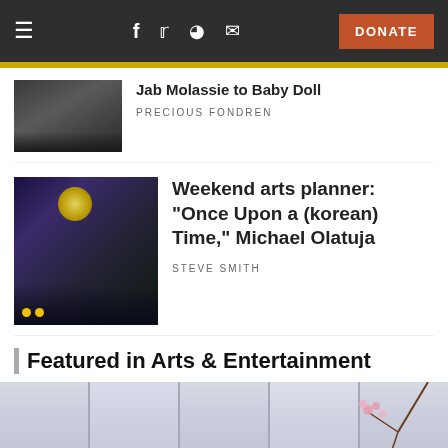Navigation bar with hamburger menu, social icons (Facebook, Twitter, Reddit, Email), and DONATE button
Jab Molassie to Baby Doll
PRECIOUS FONDREN
Weekend arts planner: "Once Upon a (korean) Time," Michael Olatuja
STEVE SMITH
Featured in Arts & Entertainment
[Figure (photo): Exterior photo of a building with glass windows and flowering tree branches]